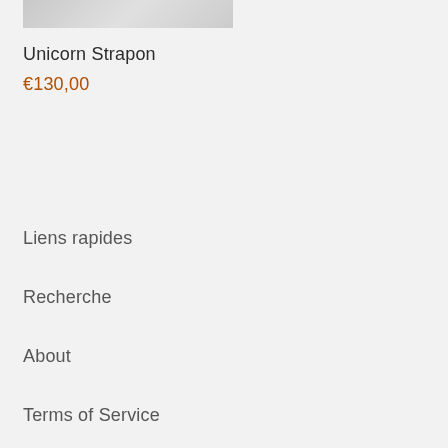[Figure (photo): Partial product photo of a Unicorn Strapon item, cropped at the top of the page]
Unicorn Strapon
€130,00
Liens rapides
Recherche
About
Terms of Service